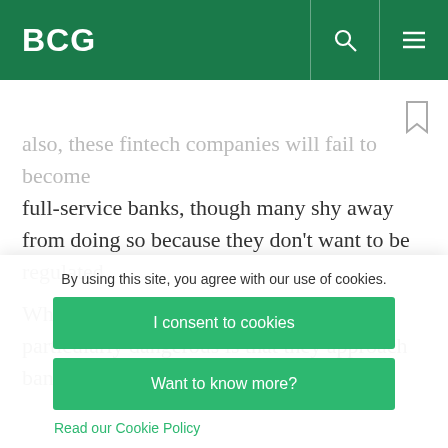BCG
also, these fintech companies will fail to become full-service banks, though many shy away from doing so because they don't want to be regulated.
What makes some of these companies particularly dangerous is that they approach banking with a
By using this site, you agree with our use of cookies.
I consent to cookies
Want to know more?
Read our Cookie Policy